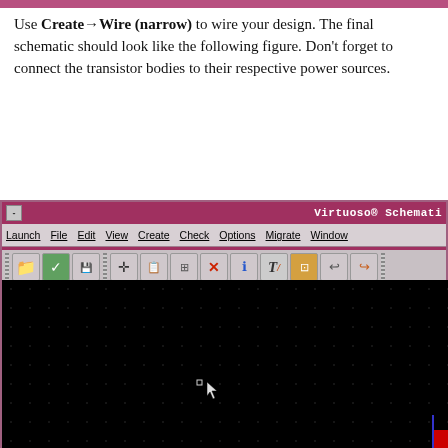Use Create → Wire (narrow) to wire your design. The final schematic should look like the following figure. Don't forget to connect the transistor bodies to their respective power sources.
[Figure (screenshot): Virtuoso Schematic Editor screenshot showing menu bar with Launch, File, Edit, View, Create, Check, Options, Migrate, Window menus, toolbar with icons, and a black canvas area with dot grid pattern and cursor visible]